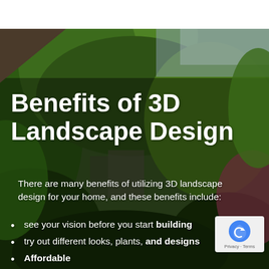[Figure (photo): Lush green garden with trees, shrubs, and plants forming a dense landscape background photo]
Benefits of 3D Landscape Design
There are many benefits of utilizing 3D landscape design for your home, and these benefits include:
see your vision before you start building
try out different looks, plants, and designs
Affordable